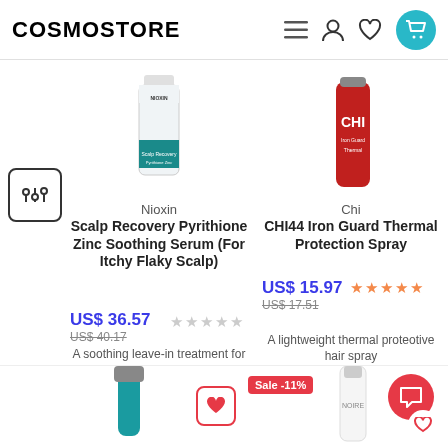COSMOSTORE
[Figure (screenshot): Nioxin Scalp Recovery Pyrithione Zinc Soothing Serum product bottle]
Nioxin
Scalp Recovery Pyrithione Zinc Soothing Serum (For Itchy Flaky Scalp)
US$ 36.57
US$ 40.17
A soothing leave-in treatment for itohy flaky soapl
[Figure (screenshot): CHI Iron Guard Thermal Protection Spray product can]
Chi
CHI44 Iron Guard Thermal Protection Spray
US$ 15.97
US$ 17.51
A lightweight thermal proteotive hair spray
[Figure (screenshot): Bottom product thumbnails partially visible, with Sale -11% badge]